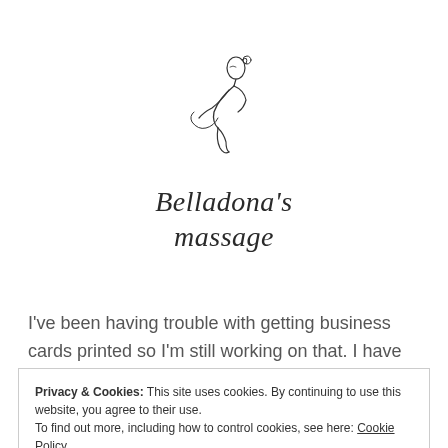[Figure (logo): Belladona's massage logo: line drawing of a woman giving a massage, with cursive script text 'Belladona's massage' below]
I've been having trouble with getting business cards printed so I'm still working on that. I have my gift certificates available and
Privacy & Cookies: This site uses cookies. By continuing to use this website, you agree to their use.
To find out more, including how to control cookies, see here: Cookie Policy
Close and accept